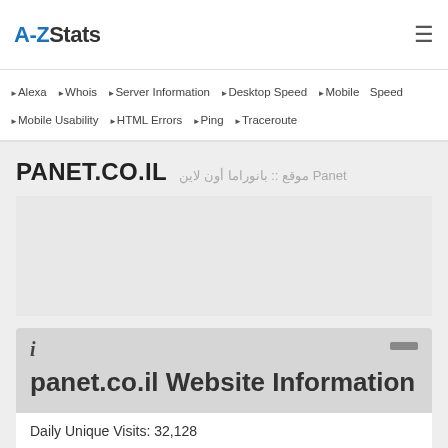A-ZStats
▶Alexa ▶Whois ▶Server Information ▶Desktop Speed ▶Mobile Speed ▶Mobile Usability ▶HTML Errors ▶Ping ▶Traceroute
PANET.CO.IL Panet موقع :: بانوراما أون لاين
Daily Unique Visits: 32,128